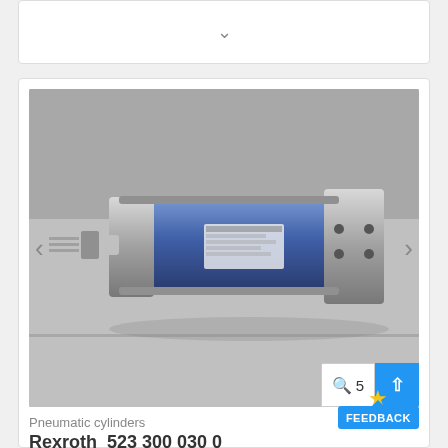[Figure (photo): Collapsed/expandable card section with a downward chevron arrow, top of page]
[Figure (photo): Photograph of a Rexroth pneumatic cylinder (part number 523 300 030 0) — a blue cylindrical body with metal end caps and a protruding rod, lying on a gray surface with a yellow background item visible in the upper right. Navigation arrows on left and right sides. Bottom right shows a zoom/5 count badge and a blue upload button.]
Pneumatic cylinders
Rexroth  523 300 030 0